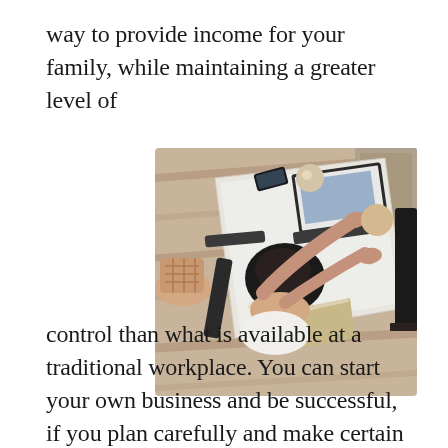way to provide income for your family, while maintaining a greater level of
[Figure (photo): Overhead aerial view of a woman with dark hair sitting on the floor beside a white desk/table, using a laptop computer. Open books and a phone are also visible on the table. Wooden floor, a lamp and a rug are in the background.]
control than what is available at a traditional workplace. You can start your own business and be successful, if you plan carefully and make certain to take into account, the various aspects